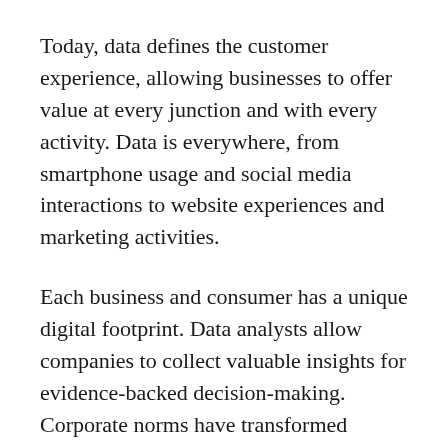Today, data defines the customer experience, allowing businesses to offer value at every junction and with every activity. Data is everywhere, from smartphone usage and social media interactions to website experiences and marketing activities.
Each business and consumer has a unique digital footprint. Data analysts allow companies to collect valuable insights for evidence-backed decision-making. Corporate norms have transformed rapidly, and data analysts do a lot more than just crunching numbers and pulling insights. Data and analytics define modern-day business practices, ensuring data security, and supporting executive decisions with data-driven statistics.